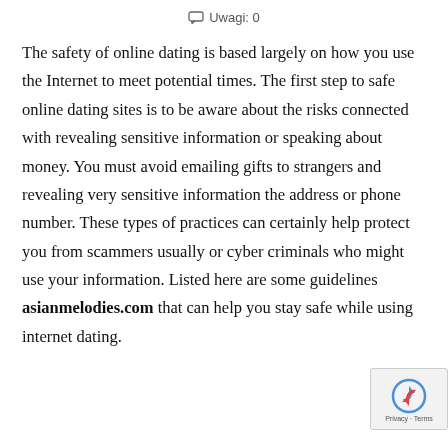Uwagi: 0
The safety of online dating is based largely on how you use the Internet to meet potential times. The first step to safe online dating sites is to be aware about the risks connected with revealing sensitive information or speaking about money. You must avoid emailing gifts to strangers and revealing very sensitive information the address or phone number. These types of practices can certainly help protect you from scammers usually or cyber criminals who might use your information. Listed here are some guidelines asianmelodies.com that can help you stay safe while using internet dating.
[Figure (logo): reCAPTCHA badge with Google logo, Privacy and Terms text]